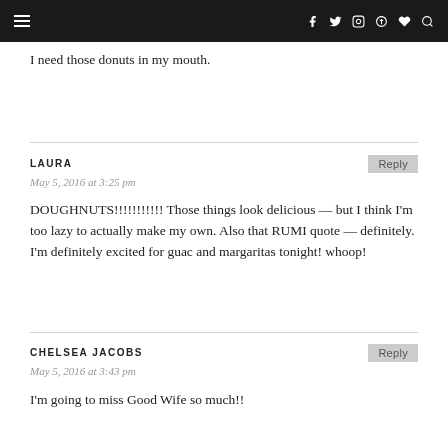≡  f  twitter  instagram  pinterest  heart  search
I need those donuts in my mouth.
LAURA
May 5, 2016 at 3:25 pm
DOUGHNUTS!!!!!!!!!!! Those things look delicious — but I think I'm too lazy to actually make my own. Also that RUMI quote — definitely. I'm definitely excited for guac and margaritas tonight! whoop!
CHELSEA JACOBS
May 5, 2016 at 3:43 pm
I'm going to miss Good Wife so much!!